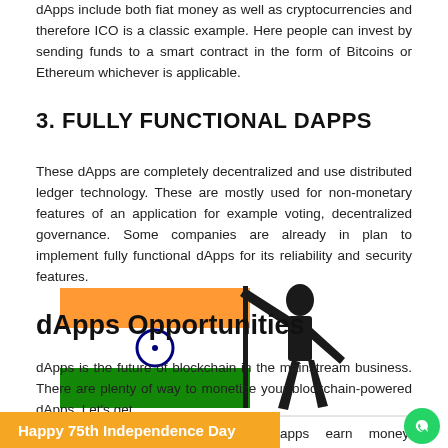dApps include both fiat money as well as cryptocurrencies and therefore ICO is a classic example. Here people can invest by sending funds to a smart contract in the form of Bitcoins or Ethereum whichever is applicable.
3. FULLY FUNCTIONAL DAPPS
These dApps are completely decentralized and use distributed ledger technology. These are mostly used for non-monetary features of an application for example voting, decentralized governance. Some companies are already in plan to implement fully functional dApps for its reliability and security features.
[Figure (illustration): Indian flag with man silhouette holding flagpole, Independence Day overlay graphic]
dApps Opportunities
dApps is the future of blockchain in the mainstream business. There are plenty of way to monetize your blockchain-powered dApps. Let's get
apps earn money. Advertisements and
Happy 75th Independence Day